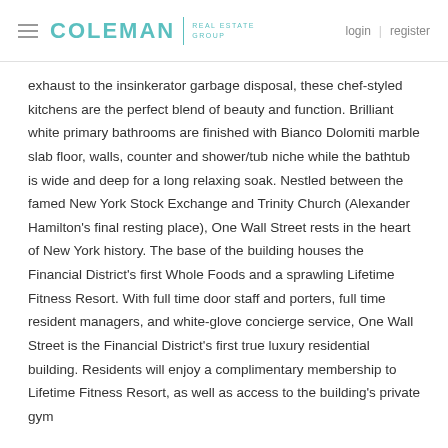COLEMAN REAL ESTATE GROUP | login | register
exhaust to the insinkerator garbage disposal, these chef-styled kitchens are the perfect blend of beauty and function. Brilliant white primary bathrooms are finished with Bianco Dolomiti marble slab floor, walls, counter and shower/tub niche while the bathtub is wide and deep for a long relaxing soak. Nestled between the famed New York Stock Exchange and Trinity Church (Alexander Hamilton's final resting place), One Wall Street rests in the heart of New York history. The base of the building houses the Financial District's first Whole Foods and a sprawling Lifetime Fitness Resort. With full time door staff and porters, full time resident managers, and white-glove concierge service, One Wall Street is the Financial District's first true luxury residential building. Residents will enjoy a complimentary membership to Lifetime Fitness Resort, as well as access to the building's private gym